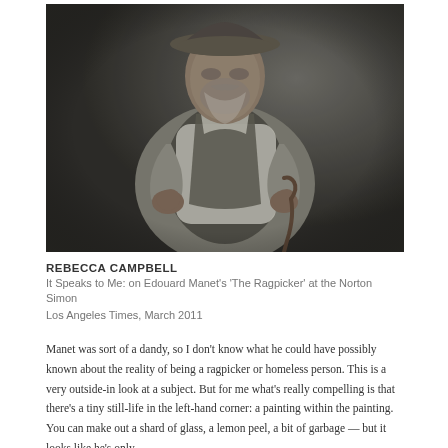[Figure (photo): A painting of an elderly ragpicker man wearing a worn hat, grey vest and white shirt, holding a cane, depicted against a dark background. This is Edouard Manet's 'The Ragpicker'.]
REBECCA CAMPBELL
It Speaks to Me: on Edouard Manet's 'The Ragpicker' at the Norton Simon
Los Angeles Times, March 2011
Manet was sort of a dandy, so I don't know what he could have possibly known about the reality of being a ragpicker or homeless person. This is a very outside-in look at a subject. But for me what's really compelling is that there's a tiny still-life in the left-hand corner: a painting within the painting. You can make out a shard of glass, a lemon peel, a bit of garbage — but it looks like he's only